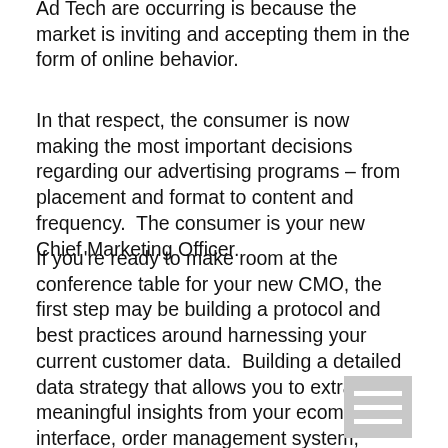Ad Tech are occurring is because the market is inviting and accepting them in the form of online behavior.
In that respect, the consumer is now making the most important decisions regarding our advertising programs – from placement and format to content and frequency.  The consumer is your new Chief Marketing Officer.
If you're ready to make room at the conference table for your new CMO, the first step may be building a protocol and best practices around harnessing your current customer data.  Building a detailed data strategy that allows you to extract meaningful insights from your ecommerce interface, order management system, loyalty database or CRM system also allows you to understand and interact with each of those customers in a new, dynamic, personalized way.
[Figure (other): Menu/hamburger icon with three white horizontal lines on a grey square background]